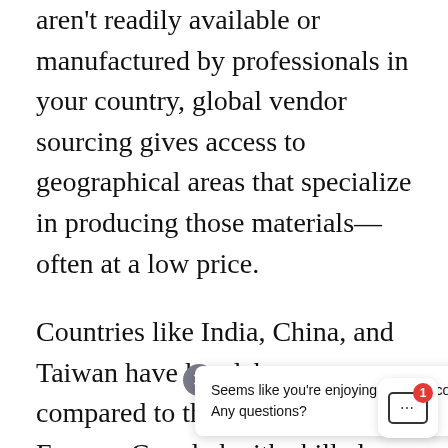aren't readily available or manufactured by professionals in your country, global vendor sourcing gives access to geographical areas that specialize in producing those materials—often at a low price.
Countries like India, China, and Taiwan have low labor costs compared to the UK, US, and Europe. Coupled with skilled expertise, this helps businesses establish long-standing relationships and get the best quality materials for their products while cutting costs on labor and produc
Seems like you're enjoying our blog content. Any questions?